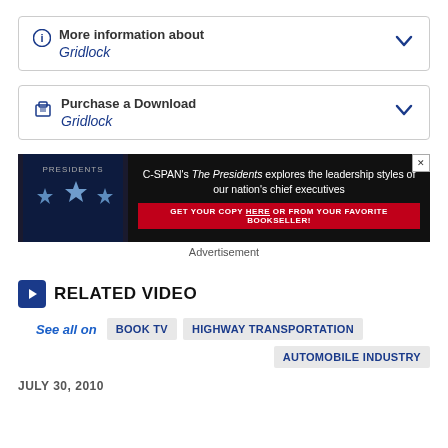More information about Gridlock
Purchase a Download Gridlock
[Figure (infographic): C-SPAN advertisement for 'The Presidents' book. Left side shows blue stars on dark background with 'PRESIDENTS' text. Right side reads: C-SPAN's The Presidents explores the leadership styles of our nation's chief executives. GET YOUR COPY HERE OR FROM YOUR FAVORITE BOOKSELLER!]
Advertisement
RELATED VIDEO
See all on  BOOK TV  HIGHWAY TRANSPORTATION  AUTOMOBILE INDUSTRY
JULY 30, 2010